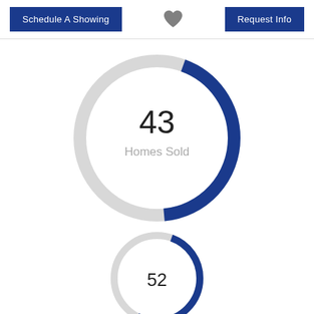[Figure (screenshot): Header bar with 'Schedule A Showing' button on left, heart icon in center, 'Request Info' button on right]
[Figure (donut-chart): Donut chart showing 43 Homes Sold, approximately 43% filled in blue]
[Figure (donut-chart): Partially visible donut chart showing 52, cut off at bottom of page]